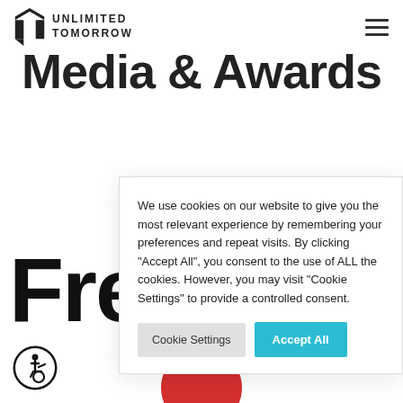UNLIMITED TOMORROW
Media & Awards
We use cookies on our website to give you the most relevant experience by remembering your preferences and repeat visits. By clicking "Accept All", you consent to the use of ALL the cookies. However, you may visit "Cookie Settings" to provide a controlled consent.
Cookie Settings | Accept All
[Figure (illustration): Accessibility icon - circular badge with wheelchair user symbol]
[Figure (illustration): Partially visible red circle at bottom of page]
Fre